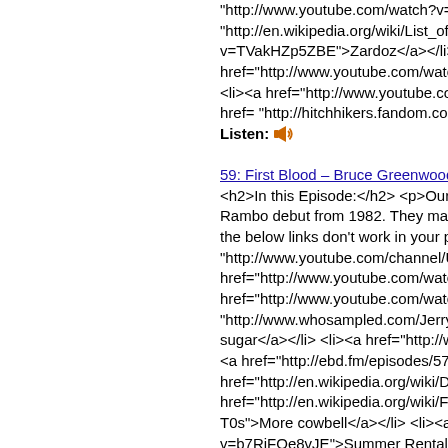"http://www.youtube.com/watch?v=wLJ8Z3PD... "http://en.wikipedia.org/wiki/List_of_What%27... v=TVakHZp5ZBE">Zardoz</a></li> <li><a hr href="http://www.youtube.com/watch?v=FLH7... <li><a href="http://www.youtube.com/watch?v=... href= "http://hitchhikers.fandom.com/wiki/Pros...
Listen: 🔊
59: First Blood – Bruce Greenwood Spectacu...
<h2>In this Episode:</h2> <p>Our Heroes fa... Rambo debut from 1982. They manage to ha... the below links don't work in your podcast pla... "http://www.youtube.com/channel/UCF1fG3g... href="http://www.youtube.com/watch?v=kRGr... href="http://www.youtube.com/watch?v=DfuL... "http://www.whosampled.com/Jerry-Goldsmit... sugar</a></li> <li><a href="http://www.youtub... <a href="http://ebd.fm/episodes/57">Over the... href="http://en.wikipedia.org/wiki/David_Caru... href="http://en.wikipedia.org/wiki/F/X">F/X</a... T0s">More cowbell</a></li> <li><a href="http... v=b7RiFOe8vJE">Summer Rental (John Can... href="http://ebd.fm/episodes/13">Demolition M... t=14">The Trip (Alfred scene)</a></li> <li><a... Lewis Can't Lose</a></li> <li><a href="http://... "http://www.salon.com/2010/08/14/rambo_col...
Listen: 🔊
58: Westworld - Season 3 WTF?! (eps 5-8)
<h2>In this Episode:</h2> <p>Our Heroes a...